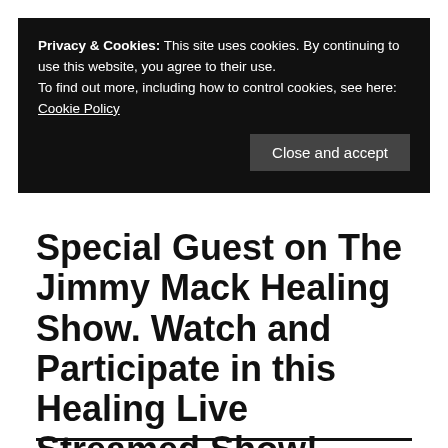Privacy & Cookies: This site uses cookies. By continuing to use this website, you agree to their use.
To find out more, including how to control cookies, see here:
Cookie Policy
[Close and accept]
Special Guest on The Jimmy Mack Healing Show. Watch and Participate in this Healing Live Streamed Show!
SUBSCRIBE TO BLOG
Enter your email address to subscribe to this